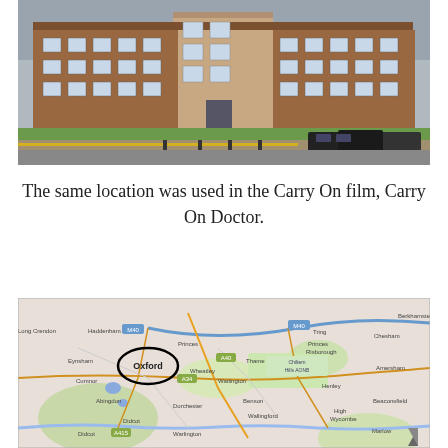[Figure (photo): Photograph of a large red-brick institutional building with green lawn in front, parked cars to the right, and a paved driveway.]
The same location was used in the Carry On film, Carry On Doctor.
[Figure (map): Google Maps screenshot showing the Oxford area in England, with Oxford circled in black marker. Surrounding towns visible include Abingdon, Didcot, Wallingford, Henley, High Wycombe, Beaconsfield, Marlow, Amersham, Chesham, Princes Risborough, Thame, Wheatley, Watlington, Dorchester, Warlington, Didcot, Benson.]